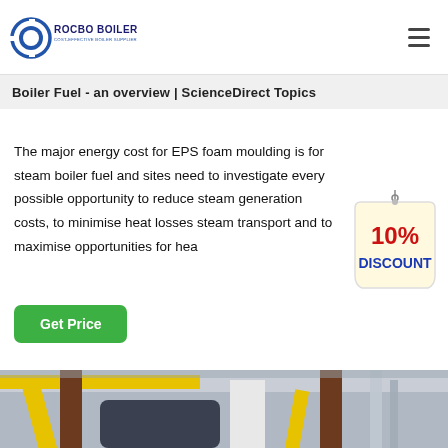ROCBO BOILER – COST-EFFECTIVE BOILER SUPPLIER
Boiler Fuel - an overview | ScienceDirect Topics
The major energy cost for EPS foam moulding is for steam boiler fuel and sites need to investigate every possible opportunity to reduce steam generation costs, to minimise heat losses steam transport and to maximise opportunities for hea...
[Figure (illustration): 10% DISCOUNT badge/label in red text on a hanging tag illustration]
[Figure (photo): Interior of industrial boiler room with yellow pipes, brown support columns, and metal boiler equipment]